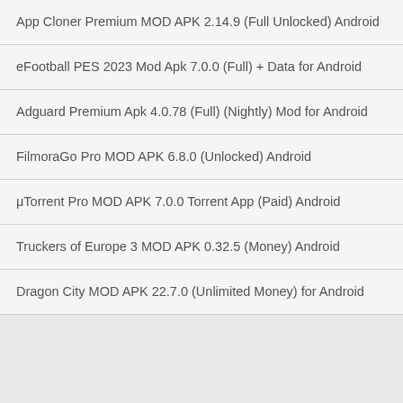App Cloner Premium MOD APK 2.14.9 (Full Unlocked) Android
eFootball PES 2023 Mod Apk 7.0.0 (Full) + Data for Android
Adguard Premium Apk 4.0.78 (Full) (Nightly) Mod for Android
FilmoraGo Pro MOD APK 6.8.0 (Unlocked) Android
μTorrent Pro MOD APK 7.0.0 Torrent App (Paid) Android
Truckers of Europe 3 MOD APK 0.32.5 (Money) Android
Dragon City MOD APK 22.7.0 (Unlimited Money) for Android